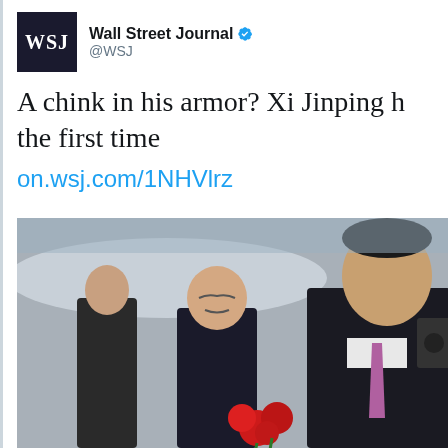[Figure (screenshot): Screenshot of a Wall Street Journal tweet. Header shows WSJ logo (dark navy square with white WSJ text), account name 'Wall Street Journal' with blue verified checkmark, handle '@WSJ'. Tweet text reads: 'A chink in his armor? Xi Jinping [continues off screen] the first time'. Link: on.wsj.com/1NHVlrz. Below is a photo of Xi Jinping in a dark suit with a pink/purple tie holding red roses, with other officials and a plane in the background.]